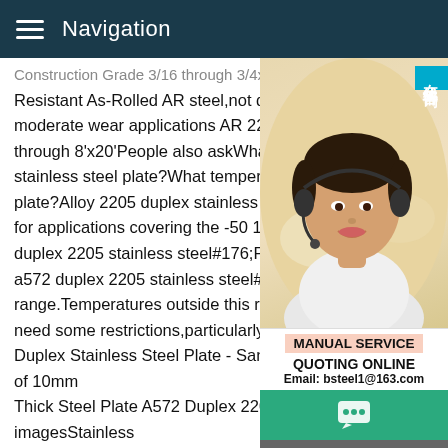Navigation
Construction Grade 3/16 through 3/4x8' Resistant As-Rolled AR steel,not quenched moderate wear applications AR 225/235 3 through 8'x20'People also askWhat temperature stainless steel plate?What temperature is plate?Alloy 2205 duplex stainless steel plate for applications covering the -50 10mm thick duplex 2205 stainless steel#176;F/+600 10mm a572 duplex 2205 stainless steel#176;F temperature range.Temperatures outside this range may need some restrictions,particularly for welding. Duplex Stainless Steel Plate - Sandmeyer SteelImages of 10mm Thick Steel Plate A572 Duplex 2205 Stainles imagesStainless Steel Plates McMaster-Carr2205 stainless steel resists cracking even when faced with a combination of tensile stress,corrosive chemicals,and heat.Also known as duplex stainless steel,it has twice the strength of 316 stainless steel.Use it for high...
[Figure (photo): Customer service representative wearing headset, smiling, with Chinese text badge reading 在线咨询 (Online Consultation) in blue on the right side. Below the photo: MANUAL SERVICE, QUOTING ONLINE, Email: bsteel1@163.com]